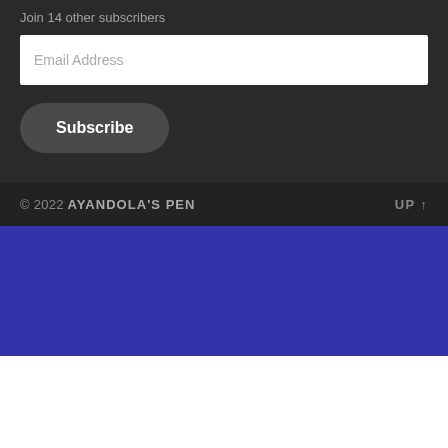Join 14 other subscribers
Email Address
Subscribe
© 2022 AYANDOLA'S PEN    UP ↑